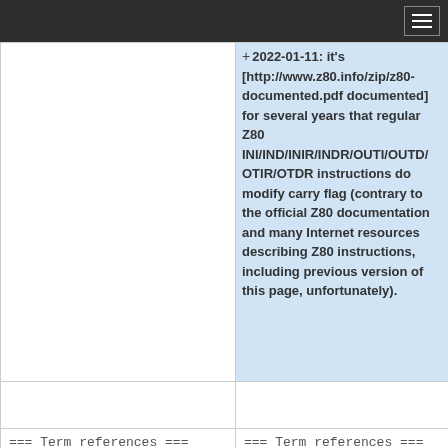hamburger menu icon
+ 2022-01-11: it's [http://www.z80.info/zip/z80-documented.pdf documented] for several years that regular Z80 INI/IND/INIR/INDR/OUTI/OUTD/OTIR/OTDR instructions do modify carry flag (contrary to the official Z80 documentation and many Internet resources describing Z80 instructions, including previous version of this page, unfortunately).
=== Term references ===
=== Term references ===
Line 497:
Line 502:
|shortfx=SP-=2; SP*:=rr
|shortfx=SP-=2; SP*:=rr